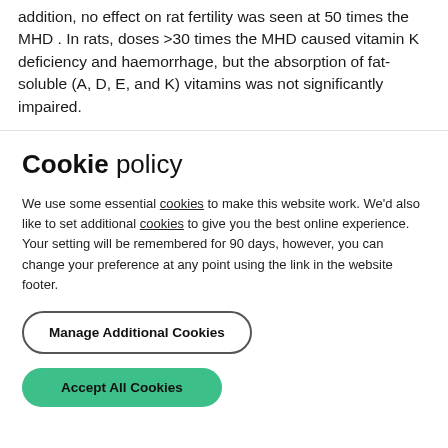addition, no effect on rat fertility was seen at 50 times the MHD . In rats, doses >30 times the MHD caused vitamin K deficiency and haemorrhage, but the absorption of fat-soluble (A, D, E, and K) vitamins was not significantly impaired.
Other measures found with the use of orlistat in...
Cookie policy
We use some essential cookies to make this website work. We'd also like to set additional cookies to give you the best online experience.
Your setting will be remembered for 90 days, however, you can change your preference at any point using the link in the website footer.
Manage Additional Cookies
Accept All Cookies